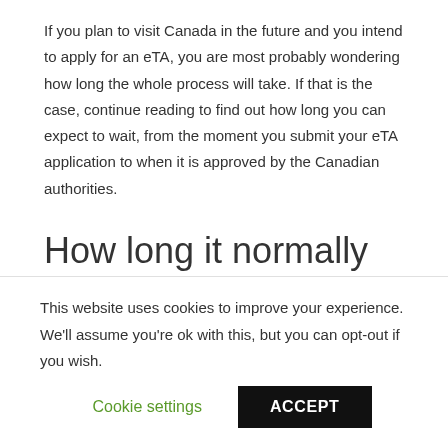If you plan to visit Canada in the future and you intend to apply for an eTA, you are most probably wondering how long the whole process will take. If that is the case, continue reading to find out how long you can expect to wait, from the moment you submit your eTA application to when it is approved by the Canadian authorities.
How long it normally takes for eTA
applications to be
This website uses cookies to improve your experience. We'll assume you're ok with this, but you can opt-out if you wish.